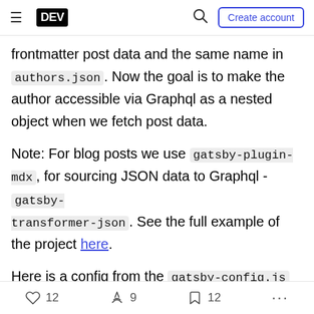DEV | Create account
frontmatter post data and the same name in authors.json. Now the goal is to make the author accessible via Graphql as a nested object when we fetch post data.
Note: For blog posts we use gatsby-plugin-mdx, for sourcing JSON data to Graphql - gatsby-transformer-json. See the full example of the project here.
Here is a config from the gatsby-config.js that makes this sourcing happen:
[Figure (screenshot): Dark code block header bar visible at bottom]
12 likes, 9 unicorns, 12 bookmarks